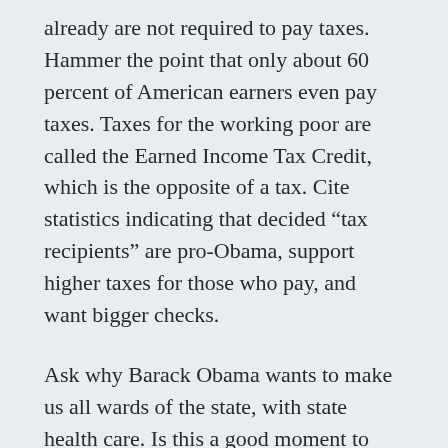already are not required to pay taxes. Hammer the point that only about 60 percent of American earners even pay taxes. Taxes for the working poor are called the Earned Income Tax Credit, which is the opposite of a tax. Cite statistics indicating that decided “tax recipients” are pro-Obama, support higher taxes for those who pay, and want bigger checks.
Ask why Barack Obama wants to make us all wards of the state, with state health care. Is this a good moment to embrace 20th Century Socialism Lite, even if we are facing a year or two of belt tightening? Shouldn’t the future be freer, with less state interference in our lives? And on the matter of the recession we are facing -- explain in language a 10-year-old can understand that we will get through it faster if we don’t gum up the job-creating process